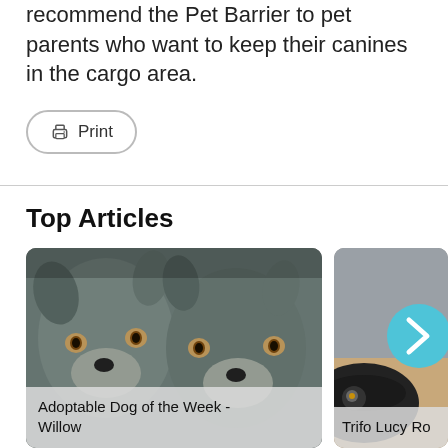recommend the Pet Barrier to pet parents who want to keep their canines in the cargo area.
Print
Top Articles
[Figure (photo): Two wolf-like dogs (husky/wolf mix) side by side, looking at camera, outdoor background. Card labeled 'Adoptable Dog of the Week - Willow']
[Figure (photo): Partial view of a robot vacuum device (black circular disc) on a wooden surface next to a gray fabric item, with a cyan circular arrow/chevron button overlay. Card labeled 'Trifo Lucy Ro...']